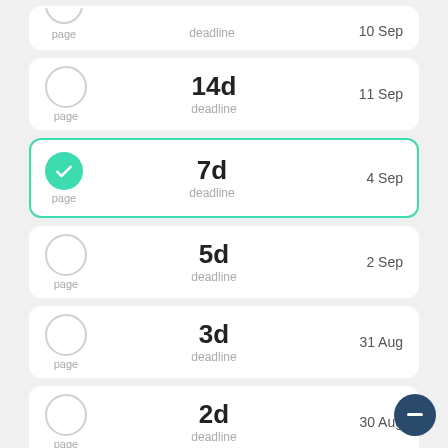page / deadline / 10 Sep (partial, top cropped)
page / 14d deadline / 11 Sep
page / 7d deadline / 4 Sep (selected)
page / 5d deadline / 2 Sep
page / 3d deadline / 31 Aug
page / 2d deadline / 30 Aug
page / 24h deadline / tomorrow at 11 AM